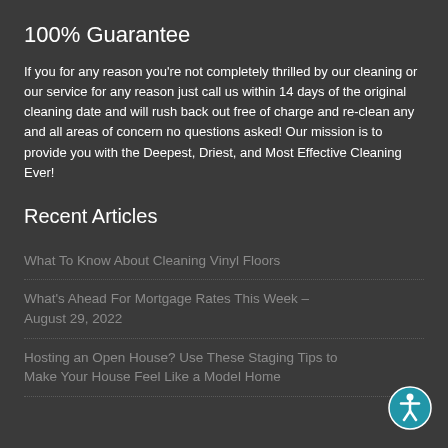100% Guarantee
If you for any reason you're not completely thrilled by our cleaning or our service for any reason just call us within 14 days of the original cleaning date and will rush back out free of charge and re-clean any and all areas of concern no questions asked! Our mission is to provide you with the Deepest, Driest, and Most Effective Cleaning Ever!
Recent Articles
What To Know About Cleaning Vinyl Floors
What's Ahead For Mortgage Rates This Week – August 29, 2022
Hosting an Open House? Use These Staging Tips to Make Your House Feel Like a Model Home